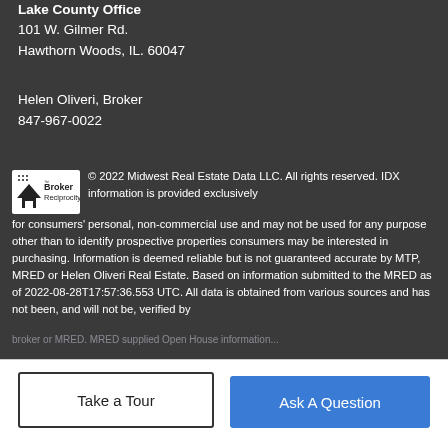Lake County Office
101 W. Gilmer Rd.
Hawthorn Woods, IL. 60047
Helen Oliveri, Broker
847-967-0022
© 2022 Midwest Real Estate Data LLC. All rights reserved. IDX information is provided exclusively for consumers' personal, non-commercial use and may not be used for any purpose other than to identify prospective properties consumers may be interested in purchasing. Information is deemed reliable but is not guaranteed accurate by MTP, MRED or Helen Oliveri Real Estate. Based on information submitted to the MRED as of 2022-08-28T17:57:36.553 UTC. All data is obtained from various sources and has not been, and will not be, verified by broker or MRED. MRED supplied Open House information...
Take a Tour
Ask A Question